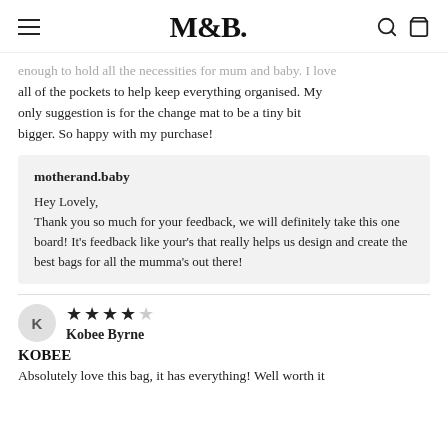M&B.
enough to hold all the necessities for mum and baby. I love all of the pockets to help keep everything organised. My only suggestion is for the change mat to be a tiny bit bigger. So happy with my purchase!
motherand.baby
Hey Lovely,
Thank you so much for your feedback, we will definitely take this one board! It's feedback like your's that really helps us design and create the best bags for all the mumma's out there!
Kobee Byrne — 4.5 stars
KOBEE
Absolutely love this bag, it has everything! Well worth it